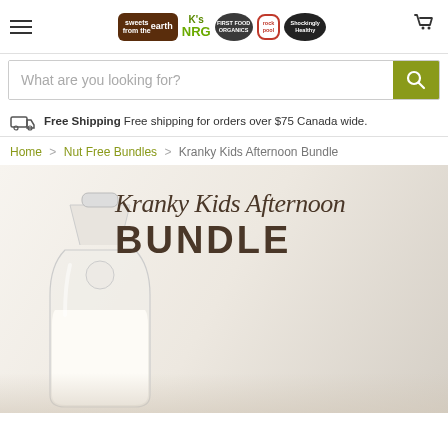Navigation header with hamburger menu, brand logos (Sweets from the earth, K's NRG, First Food Organics, Rock Pool, Shockingly Healthy), and cart icon
What are you looking for?
Free Shipping  Free shipping for orders over $75 Canada wide.
Home > Nut Free Bundles > Kranky Kids Afternoon Bundle
[Figure (photo): Product photo for Kranky Kids Afternoon Bundle showing a glass milk bottle with milk, with overlay text reading 'Kranky Kids Afternoon BUNDLE' on a light beige background]